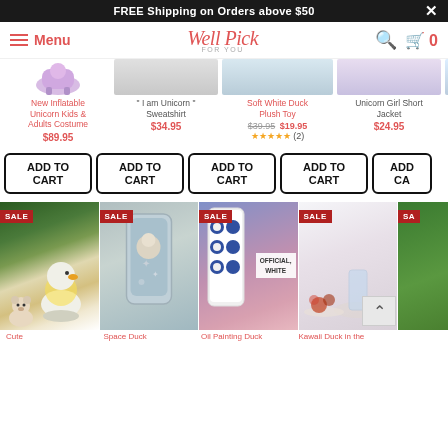FREE Shipping on Orders above $50
Well Pick FOR YOU — Menu — Search — Cart 0
New Inflatable Unicorn Kids & Adults Costume $89.95
* I am Unicorn * Sweatshirt $34.95
Soft White Duck Plush Toy $39.95 $19.95 ★★★★★ (2)
Unicorn Girl Short Jacket $24.95
Cute Uni... To... $19...
ADD TO CART | ADD TO CART | ADD TO CART | ADD TO CART | ADD...
[Figure (screenshot): Sale product grid showing 5 items with SALE badges: duck lamp, space duck case, oil painting duck phone case (OFFICIAL, WHITE), kawaii duck in the glass, and a 5th item. Product titles below.]
Cute | Space Duck | Oil Painting Duck | Kawaii Duck in the